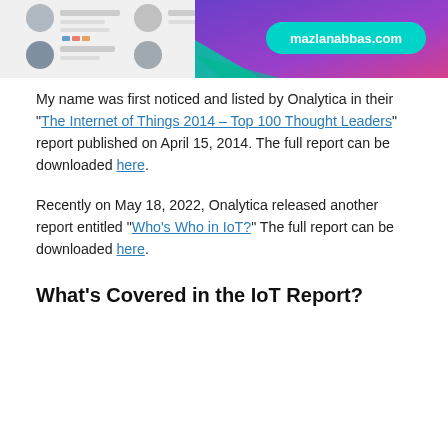[Figure (screenshot): Banner image showing Twitter/social media profile screenshots on the left and a purple/magenta gradient background on the right with 'mazlanabbas.com' text in a teal/cyan rounded rectangle.]
My name was first noticed and listed by Onalytica in their "The Internet of Things 2014 – Top 100 Thought Leaders" report published on April 15, 2014. The full report can be downloaded here.
Recently on May 18, 2022, Onalytica released another report entitled "Who's Who in IoT?" The full report can be downloaded here.
What's Covered in the IoT Report?